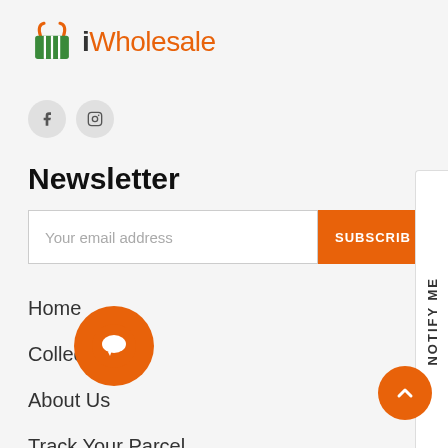[Figure (logo): iWholesale logo with green shopping basket icon and orange text]
[Figure (infographic): Social media icons: Facebook (f) and Instagram circles in grey]
Newsletter
[Figure (infographic): Email subscription form with 'Your email address' placeholder and orange SUBSCRIBE button]
Home
Collections
About Us
Track Your Parcel
Blog
Quick Guide
[Figure (infographic): NOTIFY ME vertical sidebar tab on right edge]
[Figure (infographic): Orange chat bubble icon]
[Figure (infographic): Orange scroll-to-top button with chevron up]